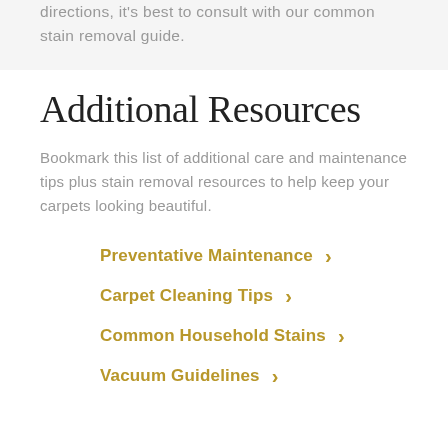directions, it's best to consult with our common stain removal guide.
Additional Resources
Bookmark this list of additional care and maintenance tips plus stain removal resources to help keep your carpets looking beautiful.
Preventative Maintenance
Carpet Cleaning Tips
Common Household Stains
Vacuum Guidelines